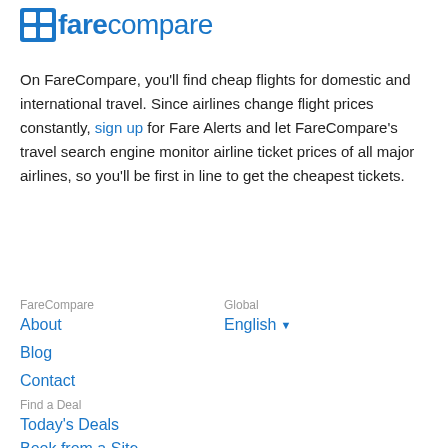[Figure (logo): FareCompare logo with blue grid icon and blue text 'farecompare']
On FareCompare, you'll find cheap flights for domestic and international travel. Since airlines change flight prices constantly, sign up for Fare Alerts and let FareCompare's travel search engine monitor airline ticket prices of all major airlines, so you'll be first in line to get the cheapest tickets.
FareCompare
About
Blog
Contact
Global
English ▾
Find a Deal
Today's Deals
Book from a Site...